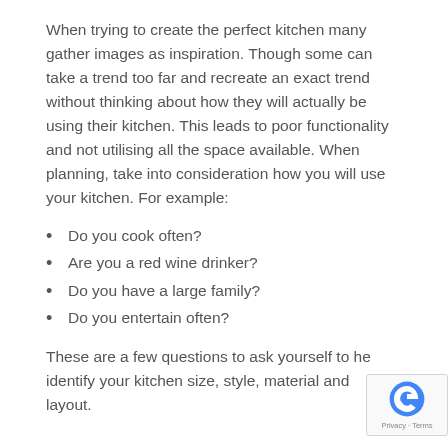When trying to create the perfect kitchen many gather images as inspiration. Though some can take a trend too far and recreate an exact trend without thinking about how they will actually be using their kitchen. This leads to poor functionality and not utilising all the space available. When planning, take into consideration how you will use your kitchen. For example:
Do you cook often?
Are you a red wine drinker?
Do you have a large family?
Do you entertain often?
These are a few questions to ask yourself to help identify your kitchen size, style, material and layout.